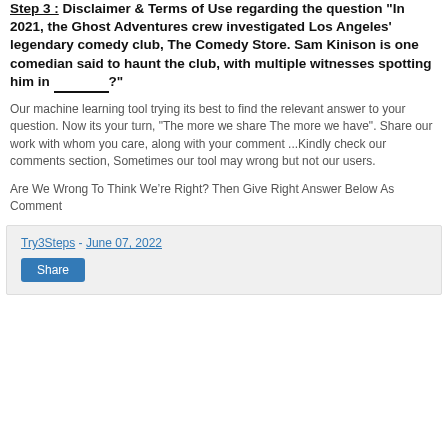Step 3 : Disclaimer & Terms of Use regarding the question "In 2021, the Ghost Adventures crew investigated Los Angeles' legendary comedy club, The Comedy Store. Sam Kinison is one comedian said to haunt the club, with multiple witnesses spotting him in ________?"
Our machine learning tool trying its best to find the relevant answer to your question. Now its your turn, "The more we share The more we have". Share our work with whom you care, along with your comment ...Kindly check our comments section, Sometimes our tool may wrong but not our users.
Are We Wrong To Think We're Right? Then Give Right Answer Below As Comment
Try3Steps - June 07, 2022   Share